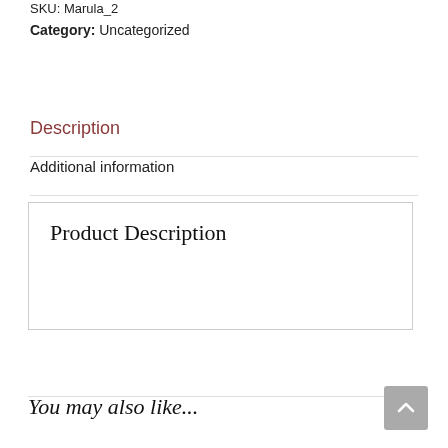SKU: Marula_2
Category: Uncategorized
Description
Additional information
Product Description
You may also like...